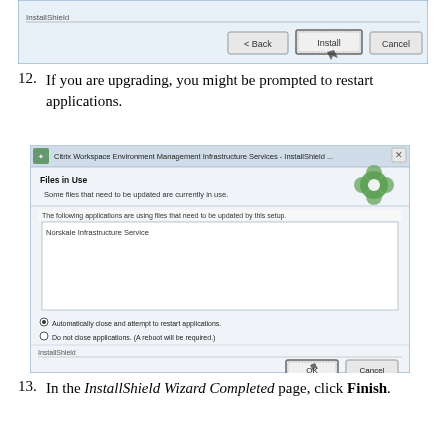[Figure (screenshot): InstallShield wizard dialog showing Back, Install, and Cancel buttons at bottom]
12. If you are upgrading, you might be prompted to restart applications.
[Figure (screenshot): Citrix Workspace Environment Management Infrastructure Services - InstallShield dialog showing 'Files in Use' with Norskale Infrastructure Service listed, radio buttons for automatically close or do not close applications, and OK/Cancel buttons]
13. In the InstallShield Wizard Completed page, click Finish.